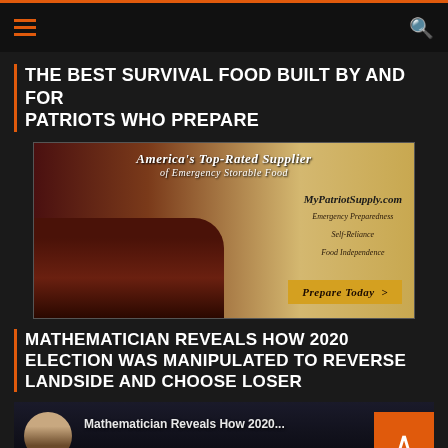Navigation bar with hamburger menu and search icon
THE BEST SURVIVAL FOOD BUILT BY AND FOR PATRIOTS WHO PREPARE
[Figure (photo): Advertisement for MyPatriotSupply.com - America's Top-Rated Supplier of Emergency Storable Food. Shows food bowls and packages. Button says Prepare Today.]
MATHEMATICIAN REVEALS HOW 2020 ELECTION WAS MANIPULATED TO REVERSE LANDSIDE AND CHOOSE LOSER
[Figure (screenshot): Video thumbnail showing a man's avatar/profile image and overlaid text reading Mathematician Reveals How 2020... with a back-to-top orange button in the corner]